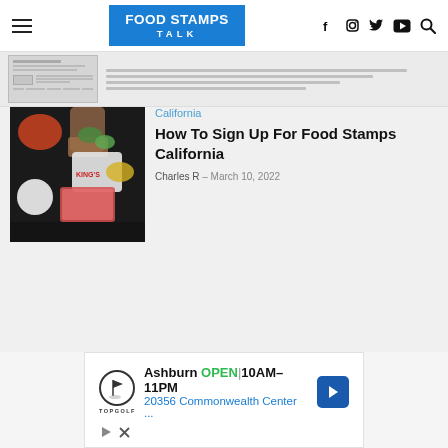FOOD STAMPS TALK
[Figure (screenshot): Thumbnail strip showing a partial document/form image]
California
How To Sign Up For Food Stamps California
Charles R  –  March 10, 2022
[Figure (photo): Person shopping with groceries, various food items visible on a dark surface]
[Figure (infographic): Advertisement for Topgolf Ashburn: OPEN 10AM–11PM, 20356 Commonwealth Center ...]